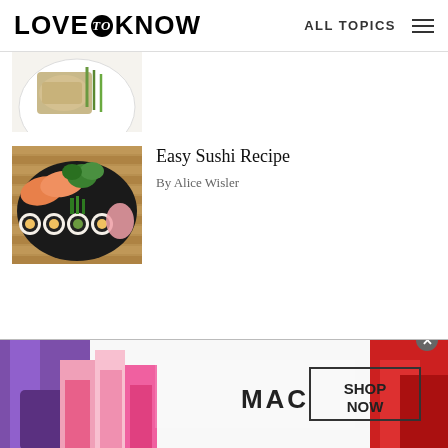LOVE to KNOW   ALL TOPICS
[Figure (photo): Partial top thumbnail of a food dish (chicken or fish with vegetables) on a white plate, partially cropped at top]
Easy Sushi Recipe
By Alice Wisler
[Figure (photo): Sushi platter with salmon sashimi, maki rolls, and garnishes on a black plate over a bamboo mat]
[Figure (photo): MAC Cosmetics advertisement showing multiple lipsticks in pink, purple and red colors with MAC logo and SHOP NOW button]